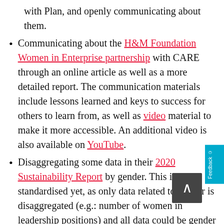with Plan, and openly communicating about them.
Communicating about the H&M Foundation Women in Enterprise partnership with CARE through an online article as well as a more detailed report. The communication materials include lessons learned and keys to success for others to learn from, as well as video material to make it more accessible. An additional video is also available on YouTube.
Disaggregating some data in their 2020 Sustainability Report by gender. This isn't standardised yet, as only data related to gender is disaggregated (e.g.: number of women in leadership positions) and all data could be gender disaggregated (including for